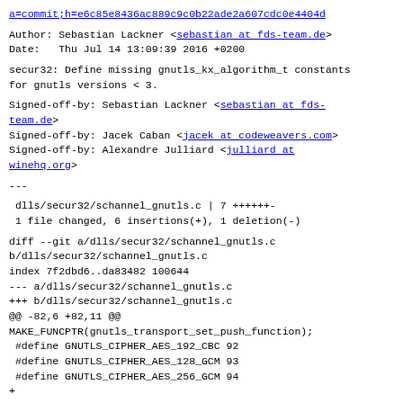a=commit;h=e6c85e8436ac889c9c0b22ade2a607cdc0e4404d
Author: Sebastian Lackner <sebastian at fds-team.de>
Date:   Thu Jul 14 13:09:39 2016 +0200
secur32: Define missing gnutls_kx_algorithm_t constants
for gnutls versions < 3.
Signed-off-by: Sebastian Lackner <sebastian at fds-team.de>
Signed-off-by: Jacek Caban <jacek at codeweavers.com>
Signed-off-by: Alexandre Julliard <julliard at winehq.org>
---
dlls/secur32/schannel_gnutls.c | 7 ++++++- 
 1 file changed, 6 insertions(+), 1 deletion(-)
diff --git a/dlls/secur32/schannel_gnutls.c
b/dlls/secur32/schannel_gnutls.c
index 7f2dbd6..da83482 100644
--- a/dlls/secur32/schannel_gnutls.c
+++ b/dlls/secur32/schannel_gnutls.c
@@ -82,6 +82,11 @@
MAKE_FUNCPTR(gnutls_transport_set_push_function);
 #define GNUTLS_CIPHER_AES_192_CBC 92
 #define GNUTLS_CIPHER_AES_128_GCM 93
 #define GNUTLS_CIPHER_AES_256_GCM 94
+